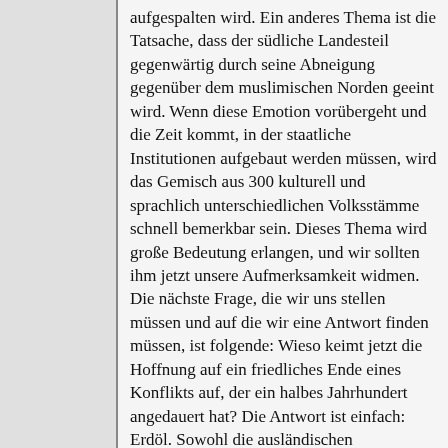aufgespalten wird. Ein anderes Thema ist die Tatsache, dass der südliche Landesteil gegenwärtig durch seine Abneigung gegenüber dem muslimischen Norden geeint wird. Wenn diese Emotion vorübergeht und die Zeit kommt, in der staatliche Institutionen aufgebaut werden müssen, wird das Gemisch aus 300 kulturell und sprachlich unterschiedlichen Volksstämme schnell bemerkbar sein. Dieses Thema wird große Bedeutung erlangen, und wir sollten ihm jetzt unsere Aufmerksamkeit widmen. Die nächste Frage, die wir uns stellen müssen und auf die wir eine Antwort finden müssen, ist folgende: Wieso keimt jetzt die Hoffnung auf ein friedliches Ende eines Konflikts auf, der ein halbes Jahrhundert angedauert hat? Die Antwort ist einfach: Erdöl. Sowohl die ausländischen